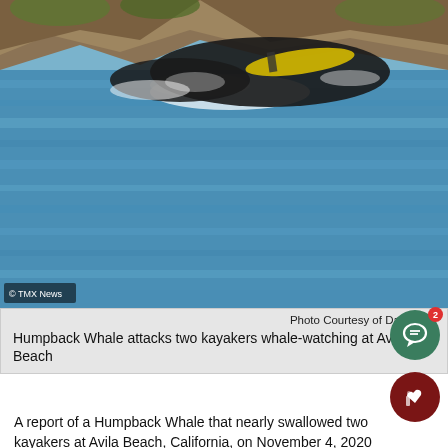[Figure (photo): A humpback whale surfacing near two kayakers in blue ocean water with rocky coastline in background. A yellow kayak is visible being tossed. © TMX News watermark in lower left.]
Photo Courtesy of Daily Mail
Humpback Whale attacks two kayakers whale-watching at Avila Beach
A report of a Humpback Whale that nearly swallowed two kayakers at Avila Beach, California, on November 4, 2020 shocks marine experts. This is a rare sight of humpback whales being abnormally aggressive with humans.
The victims were Julie McSorley and Liz Cottriel. They were watching whales from a distance, but then a whale swooped them